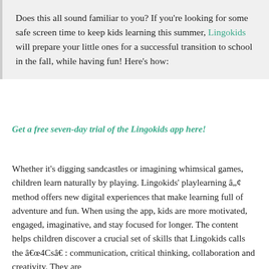Does this all sound familiar to you? If you're looking for some safe screen time to keep kids learning this summer, Lingokids will prepare your little ones for a successful transition to school in the fall, while having fun! Here's how:
Get a free seven-day trial of the Lingokids app here!
Whether it's digging sandcastles or imagining whimsical games, children learn naturally by playing. Lingokids' playlearning â„¢ method offers new digital experiences that make learning full of adventure and fun. When using the app, kids are more motivated, engaged, imaginative, and stay focused for longer. The content helps children discover a crucial set of skills that Lingokids calls the â€œ4Csâ€ : communication, critical thinking, collaboration and creativity. They are